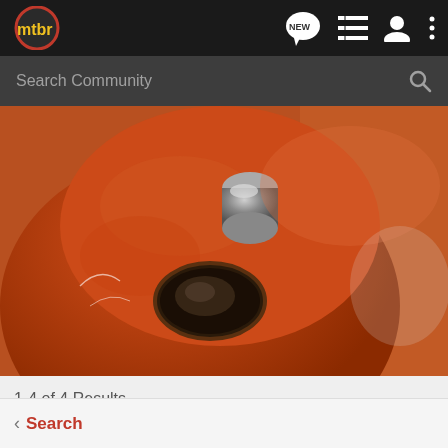mtbr
Search Community
[Figure (photo): Close-up photo of an orange/red mountain bike component (possibly a brake caliper or frame joint) with metallic parts visible — pivot bolt at top and oval hole below, showing wear marks.]
1-4 of 4 Results
< Search